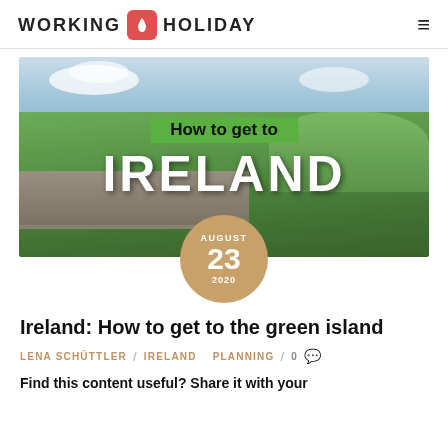WORKING HOLIDAY
[Figure (photo): Irish countryside landscape showing green hills, old stone wall ruins, and cloudy sky. Overlaid text reads 'How to get to IRELAND' with a green banner for the top text and large white text for IRELAND. A tan/beige circular date badge shows AUGUST 23 2020.]
Ireland: How to get to the green island
LENA SCHÜTTLER / Ireland Planning / 0
Find this content useful? Share it with your